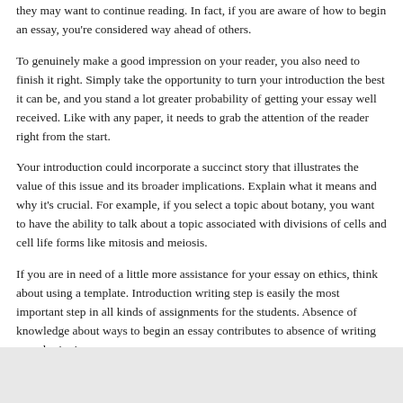they may want to continue reading. In fact, if you are aware of how to begin an essay, you're considered way ahead of others.
To genuinely make a good impression on your reader, you also need to finish it right. Simply take the opportunity to turn your introduction the best it can be, and you stand a lot greater probability of getting your essay well received. Like with any paper, it needs to grab the attention of the reader right from the start.
Your introduction could incorporate a succinct story that illustrates the value of this issue and its broader implications. Explain what it means and why it's crucial. For example, if you select a topic about botany, you want to have the ability to talk about a topic associated with divisions of cells and cell life forms like mitosis and meiosis.
If you are in need of a little more assistance for your essay on ethics, think about using a template. Introduction writing step is easily the most important step in all kinds of assignments for the students. Absence of knowledge about ways to begin an essay contributes to absence of writing award-winning essays.